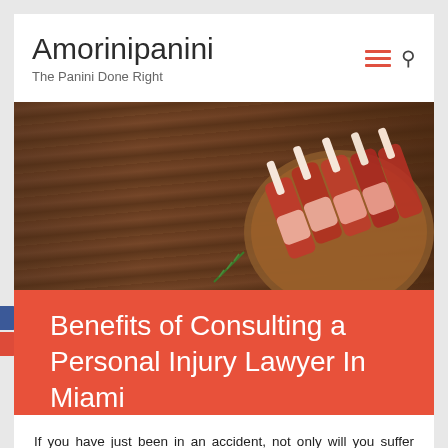Amorinipanini
The Panini Done Right
[Figure (photo): Hero image of raw lamb chops on a wooden cutting board with herbs and spices, seen from above. Dark wood background.]
Benefits of Consulting a Personal Injury Lawyer In Miami
If you have just been in an accident, not only will you suffer physically, but you will also experience a lot of psychological stress from taking care of medical bills, insurance, and many